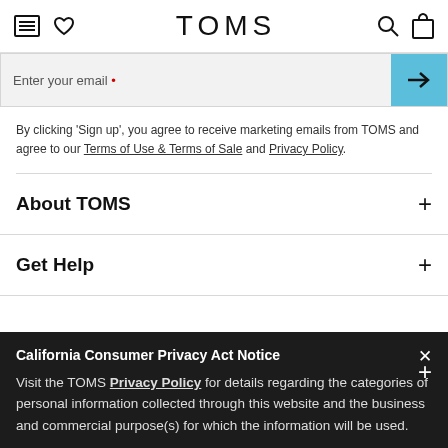TOMS
Enter your email •
By clicking 'Sign up', you agree to receive marketing emails from TOMS and agree to our Terms of Use & Terms of Sale and Privacy Policy.
About TOMS
Get Help
California Consumer Privacy Act Notice
Visit the TOMS Privacy Policy for details regarding the categories of personal information collected through this website and the business and commercial purpose(s) for which the information will be used.